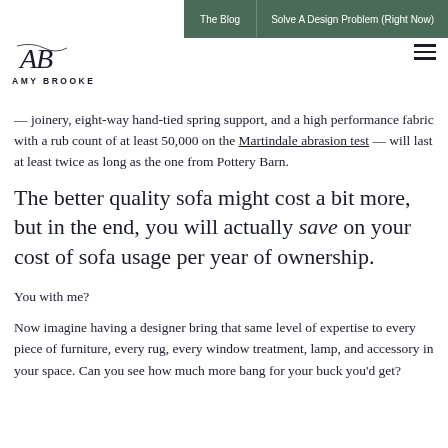The Blog | Solve A Design Problem (Right Now)
[Figure (logo): Amy Brooke logo with cursive AB monogram and text AMY BROOKE]
joinery, eight-way hand-tied spring support, and a high performance fabric with a rub count of at least 50,000 on the Martindale abrasion test — will last at least twice as long as the one from Pottery Barn.
The better quality sofa might cost a bit more, but in the end, you will actually save on your cost of sofa usage per year of ownership.
You with me?
Now imagine having a designer bring that same level of expertise to every piece of furniture, every rug, every window treatment, lamp, and accessory in your space. Can you see how much more bang for your buck you'd get?